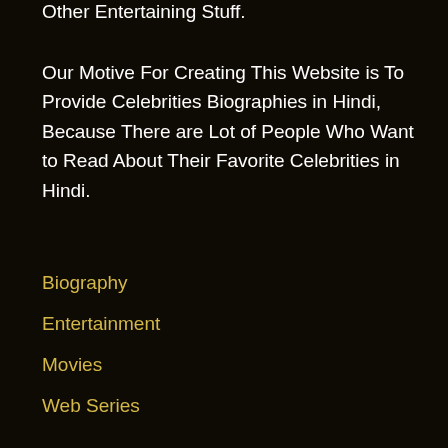Other Entertaining Stuff.
Our Motive For Creating This Website is To Provide Celebrities Biographies in Hindi, Because There are Lot of People Who Want to Read About Their Favorite Celebrities in Hindi.
Biography
Entertainment
Movies
Web Series